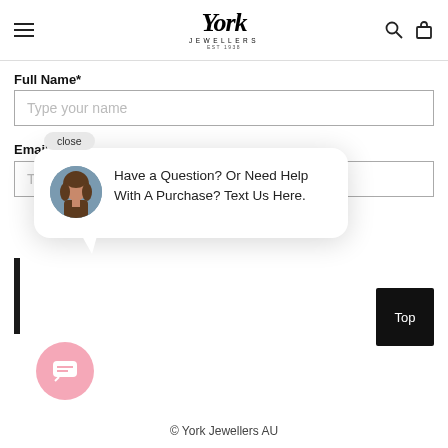[Figure (logo): York Jewellers logo with stylized italic text and 'JEWELLERS EST 1938' subtitle]
Full Name*
Type your name
Email*
T...  ...il
close
Have a Question? Or Need Help With A Purchase? Text Us Here.
Top
© York Jewellers AU